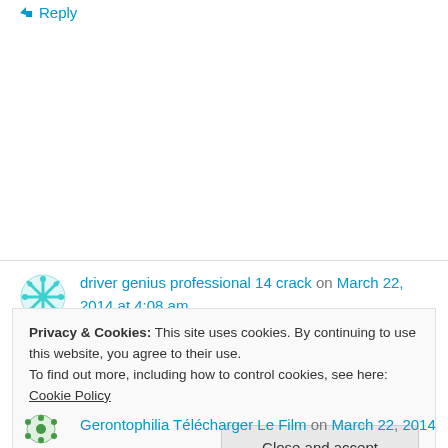↵ Reply
driver genius professional 14 crack on March 22, 2014 at 4:08 am
Hello there, You've done a fantastic job. I'll certainly digg it and personally recommend to my friends.
Privacy & Cookies: This site uses cookies. By continuing to use this website, you agree to their use. To find out more, including how to control cookies, see here: Cookie Policy
Close and accept
Gerontophilia Télécharger Le Film on March 22, 2014